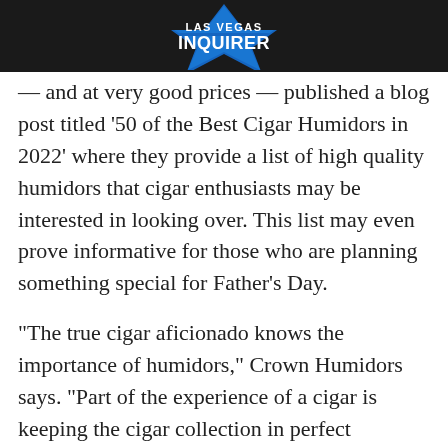[Figure (logo): Las Vegas Inquirer logo — blue star shape with 'LAS VEGAS' text above 'INQUIRER' in bold white letters, on dark background header bar]
— and at very good prices — published a blog post titled '50 of the Best Cigar Humidors in 2022' where they provide a list of high quality humidors that cigar enthusiasts may be interested in looking over. This list may even prove informative for those who are planning something special for Father's Day.
“The true cigar aficionado knows the importance of humidors,” Crown Humidors says. “Part of the experience of a cigar is keeping the cigar collection in perfect condition. As well, a humidor is very much a symbol of personal taste. This article may help you to know about the most popular best humidors in 2022. The best cigar humidors sometimes are not only about